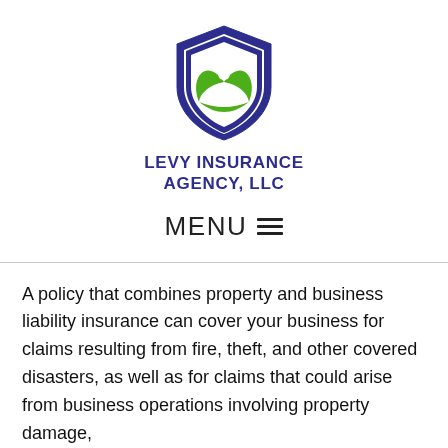[Figure (logo): Levy Insurance Agency LLC shield logo with green leaf design and blue shield border]
LEVY INSURANCE AGENCY, LLC
MENU ☰
A policy that combines property and business liability insurance can cover your business for claims resulting from fire, theft, and other covered disasters, as well as for claims that could arise from business operations involving property damage,